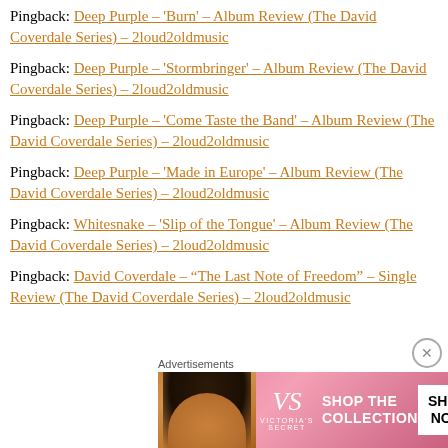Pingback: Deep Purple – 'Burn' – Album Review (The David Coverdale Series) – 2loud2oldmusic
Pingback: Deep Purple – 'Stormbringer' – Album Review (The David Coverdale Series) – 2loud2oldmusic
Pingback: Deep Purple – 'Come Taste the Band' – Album Review (The David Coverdale Series) – 2loud2oldmusic
Pingback: Deep Purple – 'Made in Europe' – Album Review (The David Coverdale Series) – 2loud2oldmusic
Pingback: Whitesnake – 'Slip of the Tongue' – Album Review (The David Coverdale Series) – 2loud2oldmusic
Pingback: David Coverdale – “The Last Note of Freedom” – Single Review (The David Coverdale Series) – 2loud2oldmusic
[Figure (advertisement): Victoria's Secret advertisement banner showing a woman with curly hair, VS logo, 'SHOP THE COLLECTION' text, and 'SHOP NOW' button on a pink background]